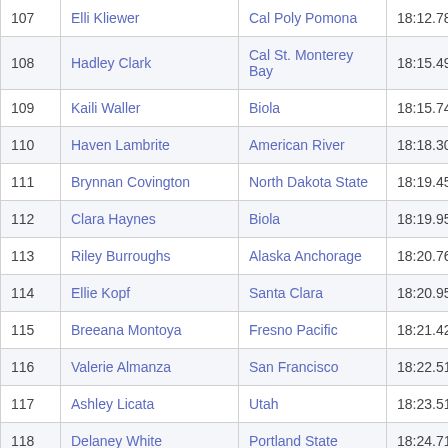|  | Name | School | Time |
| --- | --- | --- | --- |
| 107 | Elli Kliewer | Cal Poly Pomona | 18:12.78 |
| 108 | Hadley Clark | Cal St. Monterey Bay | 18:15.49 |
| 109 | Kaili Waller | Biola | 18:15.74 |
| 110 | Haven Lambrite | American River | 18:18.30 |
| 111 | Brynnan Covington | North Dakota State | 18:19.45 |
| 112 | Clara Haynes | Biola | 18:19.95 |
| 113 | Riley Burroughs | Alaska Anchorage | 18:20.76 |
| 114 | Ellie Kopf | Santa Clara | 18:20.95 |
| 115 | Breeana Montoya | Fresno Pacific | 18:21.42 |
| 116 | Valerie Almanza | San Francisco | 18:22.51 |
| 117 | Ashley Licata | Utah | 18:23.51 |
| 118 | Delaney White | Portland State | 18:24.71 |
| 119 | Jessica McKee | Iowa | 18:25.64 |
| 120 | Courtney Salmini | Seattle U... | 18:25.66 |